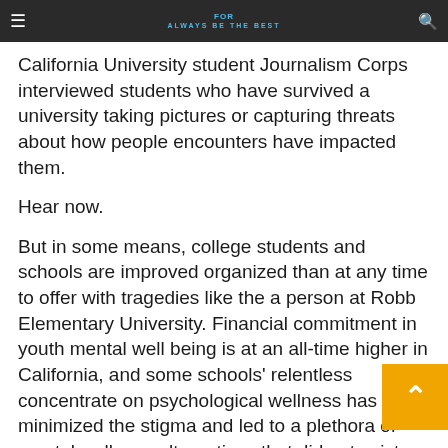ALWAYS BE THE BEST
California University student Journalism Corps interviewed students who have survived a university taking pictures or capturing threats about how people encounters have impacted them.
Hear now.
But in some means, college students and schools are improved organized than at any time to offer with tragedies like the a person at Robb Elementary University. Financial commitment in youth mental well being is at an all-time higher in California, and some schools' relentless concentrate on psychological wellness has minimized the stigma and led to a plethora of mental wellness alternatives that did not exist a several decades the past.